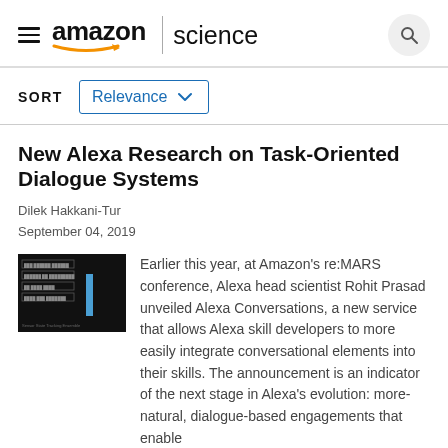amazon science
SORT  Relevance
New Alexa Research on Task-Oriented Dialogue Systems
Dilek Hakkani-Tur
September 04, 2019
[Figure (screenshot): Thumbnail image showing a dark interface with text boxes and a blue vertical bar element]
Earlier this year, at Amazon's re:MARS conference, Alexa head scientist Rohit Prasad unveiled Alexa Conversations, a new service that allows Alexa skill developers to more easily integrate conversational elements into their skills. The announcement is an indicator of the next stage in Alexa's evolution: more-natural, dialogue-based engagements that enable